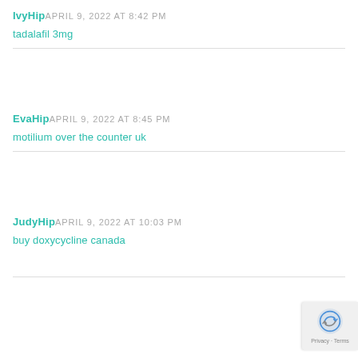IvyHip APRIL 9, 2022 AT 8:42 PM
tadalafil 3mg
EvaHip APRIL 9, 2022 AT 8:45 PM
motilium over the counter uk
JudyHip APRIL 9, 2022 AT 10:03 PM
buy doxycycline canada